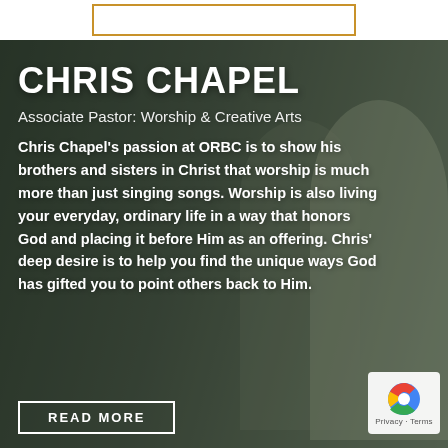[Figure (photo): Top bar with decorative bordered rectangle on white background]
[Figure (photo): Background photo of a man (Chris Chapel) and a woman smiling outdoors with natural greenery, overlaid with a dark semi-transparent overlay]
CHRIS CHAPEL
Associate Pastor: Worship & Creative Arts
Chris Chapel's passion at ORBC is to show his brothers and sisters in Christ that worship is much more than just singing songs. Worship is also living your everyday, ordinary life in a way that honors God and placing it before Him as an offering. Chris' deep desire is to help you find the unique ways God has gifted you to point others back to Him.
READ MORE